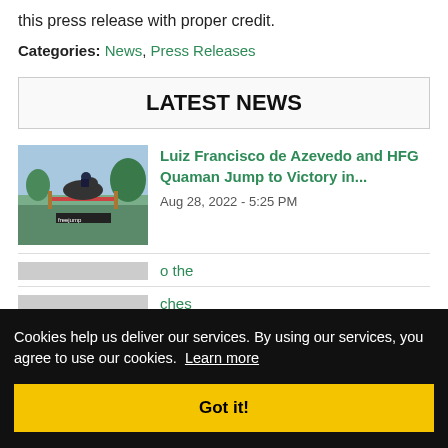this press release with proper credit.
Categories: News, Press Releases
LATEST NEWS
[Figure (photo): Horse and rider jumping in equestrian competition, outdoor setting with pink flowers and sponsor banner]
Luiz Francisco de Azevedo and HFG Quaman Jump to Victory in...
Aug 28, 2022 - 5:25 PM
o the
ches
[Figure (photo): Equestrian event thumbnail with IDA logo]
Aug 21, 2022 - 3:57 PM
Cookies help us deliver our services. By using our services, you agree to use our cookies. Learn more
Got it!